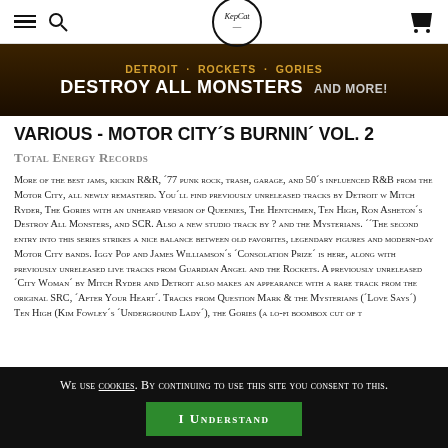KepCat (logo) — navigation bar with hamburger menu, search icon, logo, and cart
[Figure (photo): Dark promotional banner for Motor City compilation: text reads 'DETROIT · ROCKETS · GORIES / DESTROY ALL MONSTERS and more!']
VARIOUS - MOTOR CITY´S BURNIN´ VOL. 2
Total Energy Records
More of the best jams, kickin R&R, ´77 punk rock, trash, garage, and 50´s influenced R&B from the Motor City, all newly remasterd. You´ll find previously unreleased tracks by Detroit w Mitch Ryder, The Gories with an unheard version of Queenies, The Hentchmen, Ten High, Ron Asheton´s Destroy All Monsters, and SCR. Also a new studio track by ? and the Mysterians. ´´The second entry into this series strikes a nice balance between old favorites, legendary figures and modern-day Motor City bands. Iggy Pop and James Williamson´s ´Consolation Prize´ is here, along with previously unreleased live tracks from Guardian Angel and the Rockets. A previously unreleased ´City Woman´ by Mitch Ryder and Detroit also makes an appearance with a rare track from the original SRC, ´After Your Heart´. Tracks from Question Mark & the Mysterians (´Love Says´) Ten High (Kim Fowley´s ´Underground Lady´), the Gories (a lo-fi boombox cut of t
We use cookies. By continuing to use this site you consent to this. I UNDERSTAND